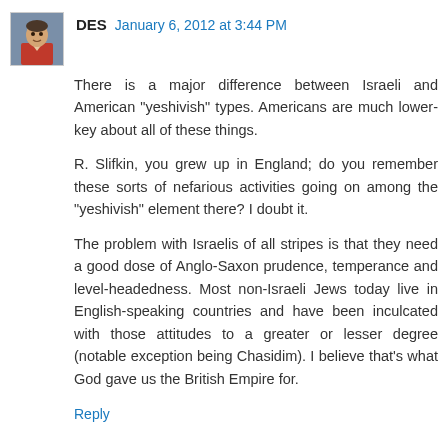[Figure (photo): Avatar image of commenter DES, showing a person in an orange/red outfit]
DES January 6, 2012 at 3:44 PM
There is a major difference between Israeli and American "yeshivish" types. Americans are much lower-key about all of these things.
R. Slifkin, you grew up in England; do you remember these sorts of nefarious activities going on among the "yeshivish" element there? I doubt it.
The problem with Israelis of all stripes is that they need a good dose of Anglo-Saxon prudence, temperance and level-headedness. Most non-Israeli Jews today live in English-speaking countries and have been inculcated with those attitudes to a greater or lesser degree (notable exception being Chasidim). I believe that's what God gave us the British Empire for.
Reply
Yitzi7 January 6, 2012 at 4:04 PM
R. Slifkin -- I am pretty sure I know of the "other dangers"